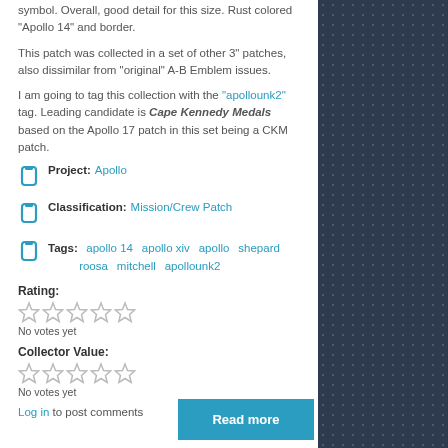symbol. Overall, good detail for this size. Rust colored "Apollo 14" and border.
This patch was collected in a set of other 3" patches, also dissimilar from "original" A-B Emblem issues.
I am going to tag this collection with the "apollounk2" tag. Leading candidate is Cape Kennedy Medals based on the Apollo 17 patch in this set being a CKM patch.
Project: Apollo
Classification: Mission/Crew Patch
Tags: apollo 14  apollo xiv  apollo  shepard  roosa  mitchell  apollounk2
Rating:
No votes yet
Collector Value:
No votes yet
Log in to post comments
Read more